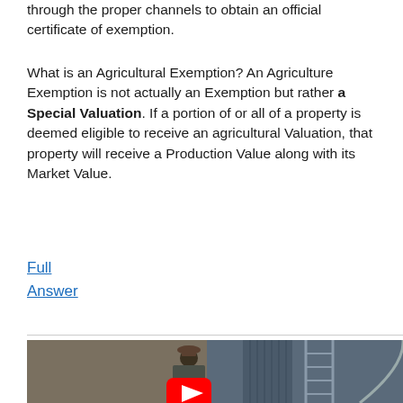through the proper channels to obtain an official certificate of exemption.
What is an Agricultural Exemption? An Agriculture Exemption is not actually an Exemption but rather a Special Valuation. If a portion of or all of a property is deemed eligible to receive an agricultural Valuation, that property will receive a Production Value along with its Market Value.
Full Answer
[Figure (photo): Video thumbnail showing a person standing near a barn or farm structure with a YouTube play button overlay]